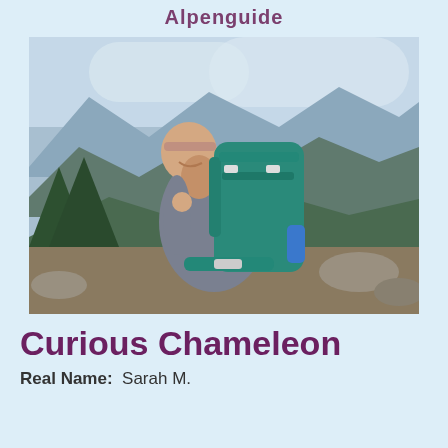Alpenguide
[Figure (photo): A young woman with a pink headband smiling over her shoulder while wearing a large teal backpack, standing on a mountain trail with forested mountain ranges in the background under a partly cloudy sky.]
Curious Chameleon
Real Name:  Sarah M.